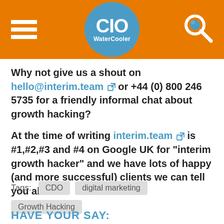CIO WaterCooler
Why not give us a shout on hello@interim.team or +44 (0) 800 246 5735 for a friendly informal chat about growth hacking?
At the time of writing interim.team is #1,#2,#3 and #4 on Google UK for “interim growth hacker” and we have lots of happy (and more successful) clients we can tell you about…
Tags: CDO   digital marketing   Growth Hacking
HAVE YOUR SAY: